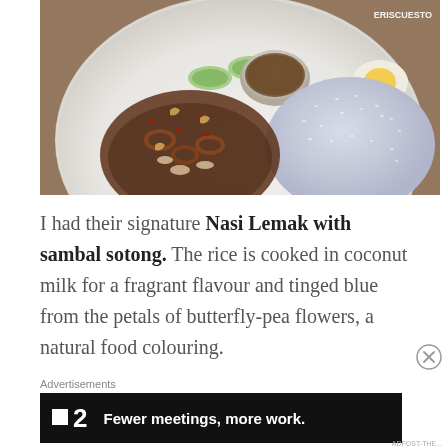[Figure (photo): A white plate with blue-tinged rice (nasi lemak coloured with butterfly-pea flowers), stir-fried squid sambal with vegetables and cashews, a small bowl of dipping sauce, sliced cucumbers, and a halved boiled egg. A watermark 'ERISCUESTO' appears in the top right corner.]
I had their signature Nasi Lemak with sambal sotong. The rice is cooked in coconut milk for a fragrant flavour and tinged blue from the petals of butterfly-pea flowers, a natural food colouring.
Advertisements
[Figure (screenshot): Dark advertisement banner showing a small square icon, the number 2, and the text 'Fewer meetings, more work.' in white bold font on black background.]